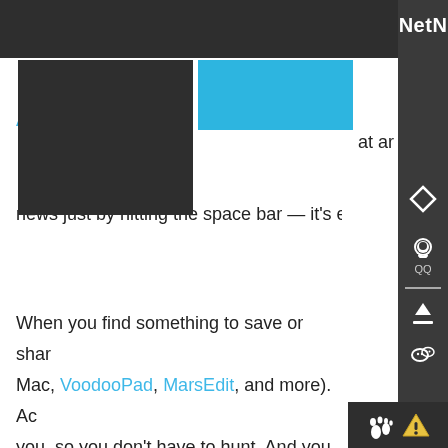NetN
Stop clicking bookmarks — let NetNewsW
A... shows you what articles
news just by hitting the space bar — it's e
When you find something to save or share... Mac, VoodooPad, MarsEdit, and more). Ad you, so you don't have to hunt. And you ca authenticated feeds too, for any in-house need to be able to read your news.